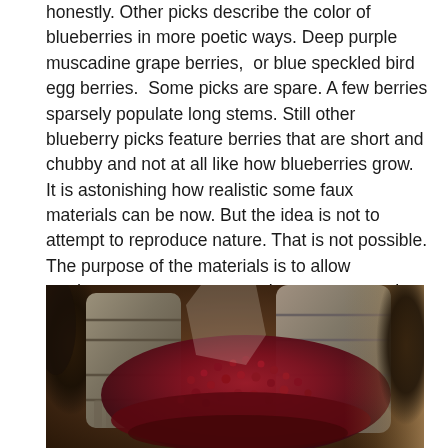honestly. Other picks describe the color of blueberries in more poetic ways. Deep purple muscadine grape berries,  or blue speckled bird egg berries.  Some picks are spare. A few berries sparsely populate long stems. Still other blueberry picks feature berries that are short and chubby and not at all like how blueberries grow. It is astonishing how realistic some faux materials can be now. But the idea is not to attempt to reproduce nature. That is not possible. The purpose of the materials is to allow gardeners to create seasonal arrangements that represent their individual interpretation of nature and its forms. The intent is not to fool the eye, but rather to appeal to one's love of the garden.
[Figure (photo): A decorative arrangement featuring dark red/burgundy berry picks scattered around and spilling from grey barrel-shaped containers, with dark grape-like clusters visible on the sides. The scene has warm amber and brown tones suggesting an autumn or rustic garden display.]